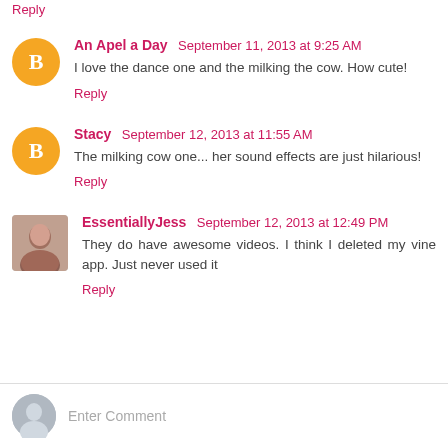Reply
An Apel a Day  September 11, 2013 at 9:25 AM
I love the dance one and the milking the cow. How cute!
Reply
Stacy  September 12, 2013 at 11:55 AM
The milking cow one... her sound effects are just hilarious!
Reply
EssentiallyJess  September 12, 2013 at 12:49 PM
They do have awesome videos. I think I deleted my vine app. Just never used it
Reply
Enter Comment